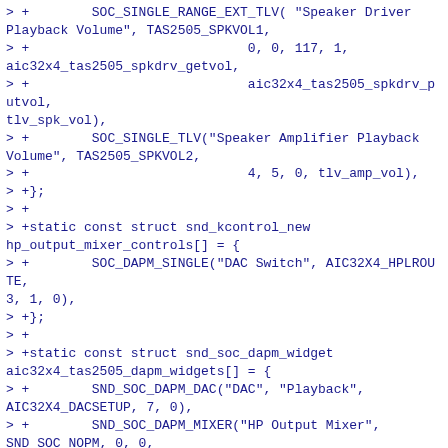> +        SOC_SINGLE_RANGE_EXT_TLV( "Speaker Driver Playback Volume", TAS2505_SPKVOL1,
> +                            0, 0, 117, 1, aic32x4_tas2505_spkdrv_getvol,
> +                            aic32x4_tas2505_spkdrv_putvol, tlv_spk_vol),
> +        SOC_SINGLE_TLV("Speaker Amplifier Playback Volume", TAS2505_SPKVOL2,
> +                            4, 5, 0, tlv_amp_vol),
> +};
> +
> +static const struct snd_kcontrol_new hp_output_mixer_controls[] = {
> +        SOC_DAPM_SINGLE("DAC Switch", AIC32X4_HPLROUTE, 3, 1, 0),
> +};
> +
> +static const struct snd_soc_dapm_widget aic32x4_tas2505_dapm_widgets[] = {
> +        SND_SOC_DAPM_DAC("DAC", "Playback", AIC32X4_DACSETUP, 7, 0),
> +        SND_SOC_DAPM_MIXER("HP Output Mixer", SND_SOC_NOPM, 0, 0,
> +
&hp_output_mixer_controls[0],
> +
ARRAY_SIZE(hp_output_mixer_controls)),
> +        SND_SOC_DAPM_PGA("HP Power", AIC32X4_OUTPWRCTL, 5, 0, NULL, 0),
> +
> +        SND_SOC_DAPM_PGA("Speaker Driver", TAS2505_SPK